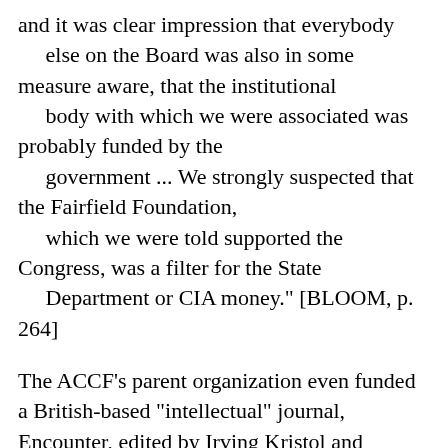and it was clear impression that everybody
	else on the Board was also in some measure aware, that the institutional
	body with which we were associated was probably funded by the
	government ... We strongly suspected that the Fairfield Foundation,
	which we were told supported the Congress, was a filter for the State
	Department or CIA money." [BLOOM, p. 264]
The ACCF's parent organization even funded a British-based "intellectual" journal, Encounter, edited by Irving Kristol and Stephen Spender. A later editor, Melvin Lasky, is generally presumed to have been the